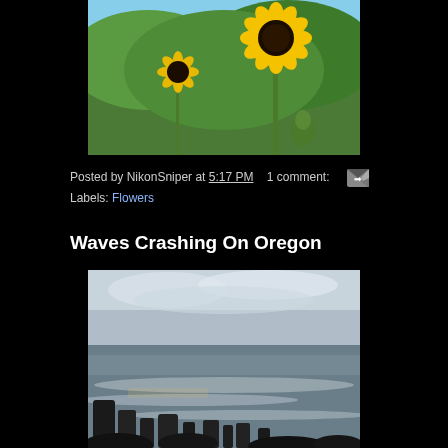[Figure (photo): Close-up photograph of sunflowers with yellow petals and dark centers against a blurred green foliage and blue sky background]
Posted by NikonSniper at 5:17 PM    1 comment:    [email icon]
Labels: Flowers
Waves Crashing On Oregon
[Figure (photo): Photograph of waves crashing on the Oregon coast with dark rocky sea stacks in the foreground, white surf, and a cloudy sky at dusk or dawn]